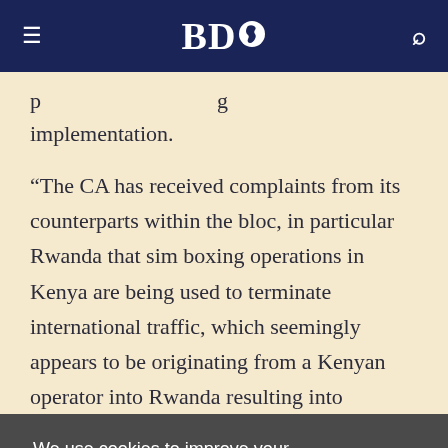BDO
p … g implementation.
“The CA has received complaints from its counterparts within the bloc, in particular Rwanda that sim boxing operations in Kenya are being used to terminate international traffic, which seemingly appears to be originating from a Kenyan operator into Rwanda resulting into
We use cookies to improve your experience on our site and to show you relevant advertising. To find out more, read our updated Privacy Policy